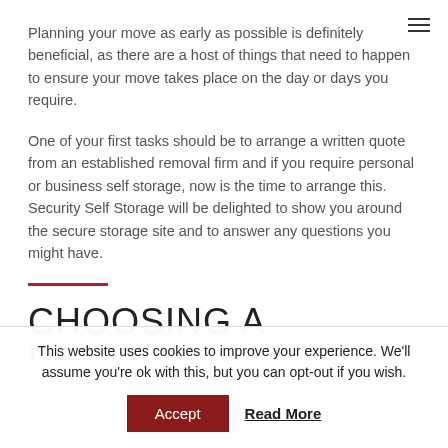Planning your move as early as possible is definitely beneficial, as there are a host of things that need to happen to ensure your move takes place on the day or days you require.
One of your first tasks should be to arrange a written quote from an established removal firm and if you require personal or business self storage, now is the time to arrange this. Security Self Storage will be delighted to show you around the secure storage site and to answer any questions you might have.
CHOOSING A REMOVAL COMPANY AND SELF STORAGE
This website uses cookies to improve your experience. We'll assume you're ok with this, but you can opt-out if you wish.